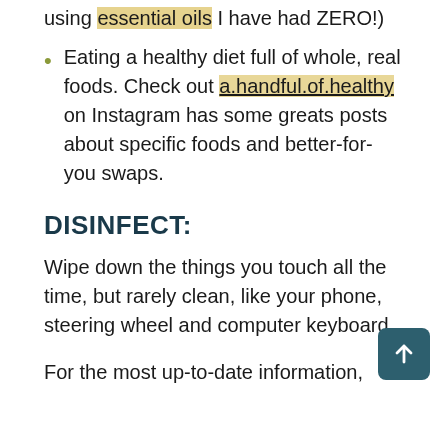using essential oils I have had ZERO!)
Eating a healthy diet full of whole, real foods. Check out a.handful.of.healthy on Instagram has some greats posts about specific foods and better-for-you swaps.
DISINFECT:
Wipe down the things you touch all the time, but rarely clean, like your phone, steering wheel and computer keyboard.
For the most up-to-date information,